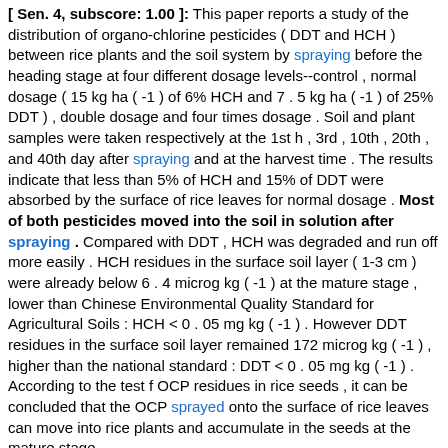[ Sen. 4, subscore: 1.00 ]: This paper reports a study of the distribution of organo-chlorine pesticides ( DDT and HCH ) between rice plants and the soil system by spraying before the heading stage at four different dosage levels--control , normal dosage ( 15 kg ha ( -1 ) of 6% HCH and 7 . 5 kg ha ( -1 ) of 25% DDT ) , double dosage and four times dosage . Soil and plant samples were taken respectively at the 1st h , 3rd , 10th , 20th , and 40th day after spraying and at the harvest time . The results indicate that less than 5% of HCH and 15% of DDT were absorbed by the surface of rice leaves for normal dosage . Most of both pesticides moved into the soil in solution after spraying . Compared with DDT , HCH was degraded and run off more easily . HCH residues in the surface soil layer ( 1-3 cm ) were already below 6 . 4 microg kg ( -1 ) at the mature stage , lower than Chinese Environmental Quality Standard for Agricultural Soils : HCH < 0 . 05 mg kg ( -1 ) . However DDT residues in the surface soil layer remained 172 microg kg ( -1 ) , higher than the national standard : DDT < 0 . 05 mg kg ( -1 ) . According to the test f OCP residues in rice seeds , it can be concluded that the OCP sprayed onto the surface of rice leaves can move into rice plants and accumulate in the seeds at the mature stage .
[ Sen. 8, subscore: 1.00 ]: Most of both pesticides moved into the soil in solution after spraying . Compared with DDT , HCH was degraded and run off more easily . HCH residues in the surface soil layer ( 1-3 cm ) were already below 6 . 4 microg kg ( -1 ) at the mature stage , lower than Chinese Environmental Quality Standard for Agricultural Soils : HCH < 0 . 05 mg kg ( -1 ) . However DDT residues in the surface soil layer remained 172 microg kg ( -1 ) , higher than the national standard : DDT < 0 . 05 mg kg ( -1 ) . According to the test f OCP residues in rice seeds , it can be concluded that the OCP sprayed onto the surface of rice leaves can move into rice plants and accumulate in the seeds at the mature stage . HCH residues in rice seeds of the double